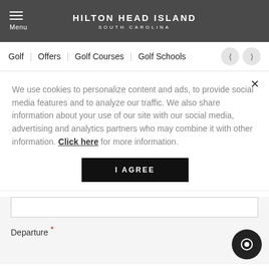HILTON HEAD ISLAND SOUTH CAROLINA
Golf | Offers | Golf Courses | Golf Schools
We use cookies to personalize content and ads, to provide social media features and to analyze our traffic. We also share information about your use of our site with our social media, advertising and analytics partners who may combine it with other information. Click here for more information.
I AGREE
Departure *